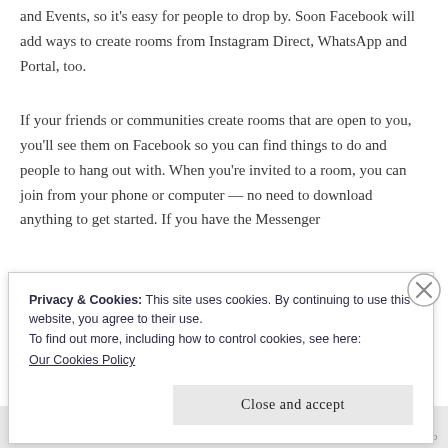and Events, so it's easy for people to drop by. Soon Facebook will add ways to create rooms from Instagram Direct, WhatsApp and Portal, too.
If your friends or communities create rooms that are open to you, you'll see them on Facebook so you can find things to do and people to hang out with. When you're invited to a room, you can join from your phone or computer — no need to download anything to get started. If you have the Messenger
Privacy & Cookies: This site uses cookies. By continuing to use this website, you agree to their use.
To find out more, including how to control cookies, see here:
Our Cookies Policy
Close and accept